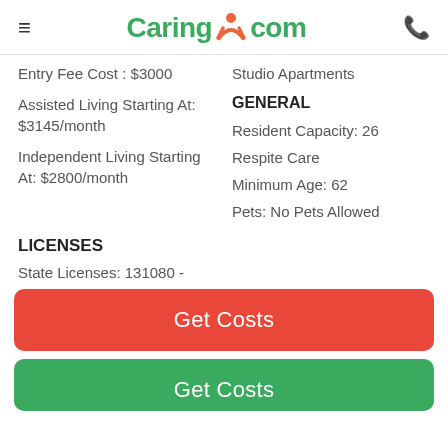Caring.com
Entry Fee Cost : $3000
Assisted Living Starting At: $3145/month
Studio Apartments
GENERAL
Independent Living Starting At: $2800/month
Resident Capacity: 26
Respite Care
Minimum Age: 62
Pets: No Pets Allowed
LICENSES
State Licenses: 131080 -
Get Costs
Get Costs